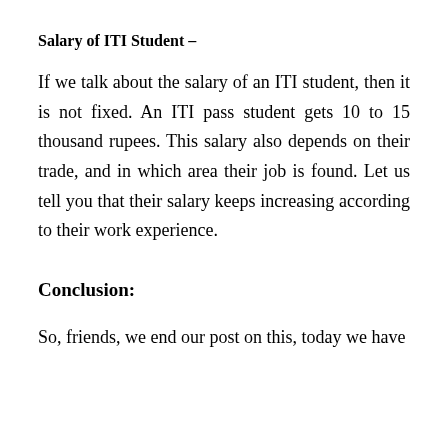Salary of ITI Student –
If we talk about the salary of an ITI student, then it is not fixed. An ITI pass student gets 10 to 15 thousand rupees. This salary also depends on their trade, and in which area their job is found. Let us tell you that their salary keeps increasing according to their work experience.
Conclusion:
So, friends, we end our post on this, today we have